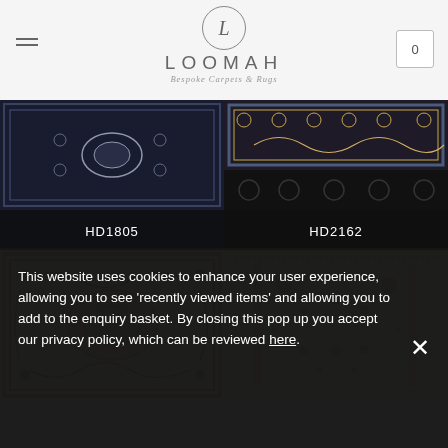[Figure (logo): Loomah logo: circle with L inside, brand name LOOMAH, tagline Bespoke Carpets & Rugs]
[Figure (photo): Dark navy carpet with intricate white floral/ornamental pattern, labeled HD1805]
[Figure (photo): Dark carpet with blue and gold ornamental border pattern, labeled HD2162]
[Figure (photo): Cream/gold carpet with ornate baroque scrollwork pattern]
[Figure (photo): Cream carpet with pink and purple floral pattern]
This website uses cookies to enhance your user experience, allowing you to see 'recently viewed items' and allowing you to add to the enquiry basket. By closing this pop up you accept our privacy policy, which can be reviewed here.